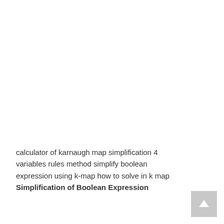calculator of karnaugh map simplification 4 variables rules method simplify boolean expression using k-map how to solve in k map
Simplification of Boolean Expression